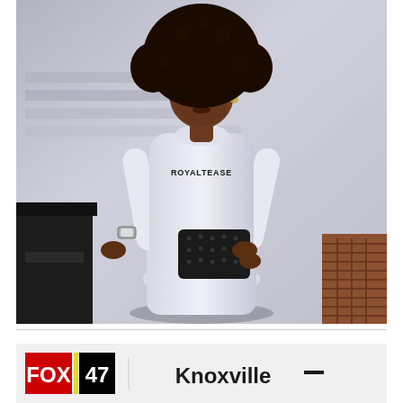[Figure (photo): A woman with a large natural afro hairstyle, wearing a white long-sleeve turtleneck bodysuit with 'ROYALTEASE' printed on the chest, white pants, a silver watch, and holding a black studded clutch. She is seated/leaning near concrete steps with a white wall background and brick flooring visible at bottom right. A dark chair is partially visible at bottom left.]
[Figure (screenshot): Partial view of a FOX 47 news broadcast lower-third graphic showing the FOX 47 logo on the left and the word 'Knoxville' in bold black text on the right with a short dash line.]